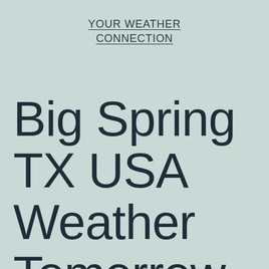YOUR WEATHER CONNECTION
Big Spring TX USA Weather Tomorrow and Today